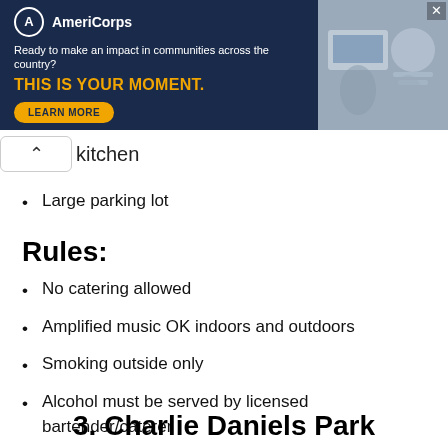[Figure (other): AmeriCorps advertisement banner with dark navy background, logo, tagline 'Ready to make an impact in communities across the country?', headline 'THIS IS YOUR MOMENT.', learn more button, and photo of people at computers on the right.]
kitchen
Large parking lot
Rules:
No catering allowed
Amplified music OK indoors and outdoors
Smoking outside only
Alcohol must be served by licensed bartender/caterer
Music must end by 9:00PM
3. Charlie Daniels Park